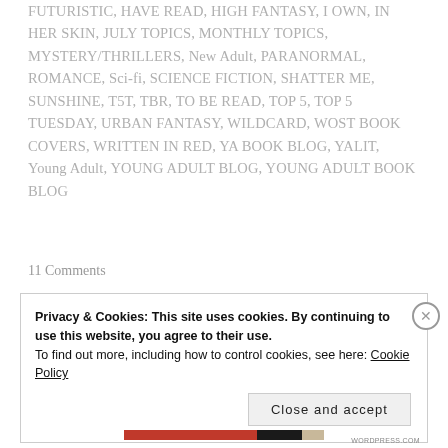FUTURISTIC, HAVE READ, HIGH FANTASY, I OWN, IN HER SKIN, JULY TOPICS, MONTHLY TOPICS, MYSTERY/THRILLERS, New Adult, PARANORMAL, ROMANCE, Sci-fi, SCIENCE FICTION, SHATTER ME, SUNSHINE, T5T, TBR, TO BE READ, TOP 5, TOP 5 TUESDAY, URBAN FANTASY, WILDCARD, WOST BOOK COVERS, WRITTEN IN RED, YA BOOK BLOG, YALIT, Young Adult, YOUNG ADULT BLOG, YOUNG ADULT BOOK BLOG
11 Comments
Privacy & Cookies: This site uses cookies. By continuing to use this website, you agree to their use. To find out more, including how to control cookies, see here: Cookie Policy
Close and accept